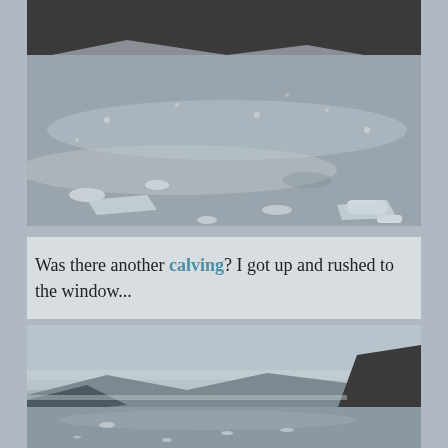[Figure (photo): Aerial or close-up view of a glacier calving area with ice chunks floating on grey water, dark rocky mountains in background, overcast sky]
Was there another calving? I got up and rushed to the window...
[Figure (photo): Panoramic view of a glacial bay with mountains, calm grey-blue water with floating ice, overcast sky, dark rocky cliffs on right]